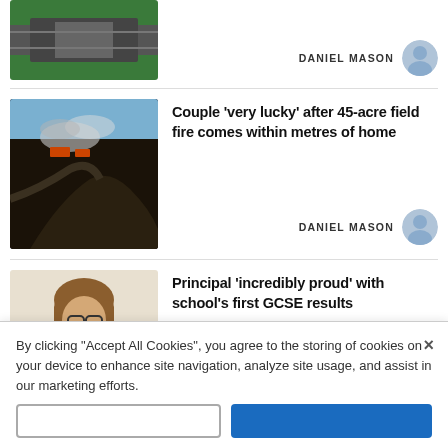[Figure (photo): Partial news card at top: aerial view of road with green fields, partial image]
DANIEL MASON
[Figure (photo): Burnt field with smoke and fire trucks, large field fire scene]
Couple 'very lucky' after 45-acre field fire comes within metres of home
DANIEL MASON
[Figure (photo): Young woman with glasses smiling and holding paper results sheet]
Principal 'incredibly proud' with school's first GCSE results
DANIEL MASON
By clicking "Accept All Cookies", you agree to the storing of cookies on your device to enhance site navigation, analyze site usage, and assist in our marketing efforts.